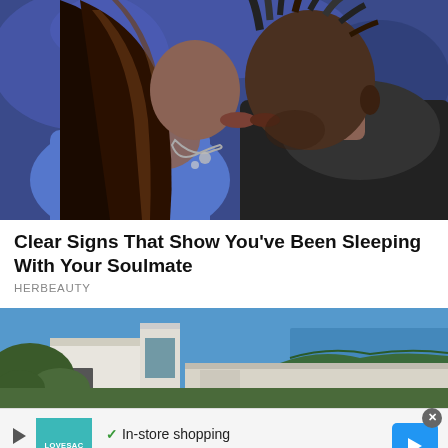[Figure (photo): Two people kissing closely, woman with long dark hair with highlights wearing a silver necklace, man with short dreadlocks wearing a dark shirt, against a blue/purple background]
Clear Signs That Show You've Been Sleeping With Your Soulmate
HERBEAUTY
[Figure (photo): Modern minimalist white villa/house with flat roof, surrounded by greenery, with a body of water and blue sky in the background]
[Figure (infographic): Advertisement banner for LOVESAC brand. Shows teal LOVESAC logo box, checklist: green checkmark In-store shopping, red X In-store pickup, green checkmark Delivery. Blue diamond arrow navigation button on right. Play button and X on left side.]